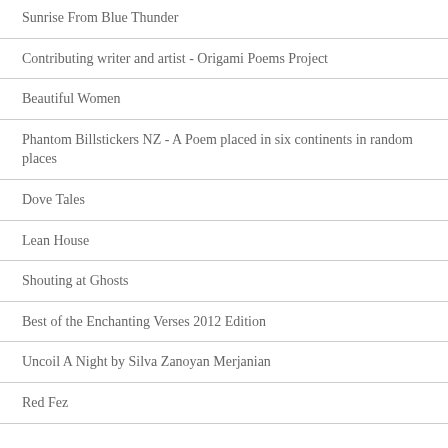Sunrise From Blue Thunder
Contributing writer and artist - Origami Poems Project
Beautiful Women
Phantom Billstickers NZ - A Poem placed in six continents in random places
Dove Tales
Lean House
Shouting at Ghosts
Best of the Enchanting Verses 2012 Edition
Uncoil A Night by Silva Zanoyan Merjanian
Red Fez